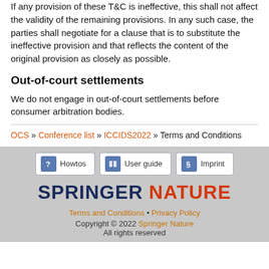If any provision of these T&C is ineffective, this shall not affect the validity of the remaining provisions. In any such case, the parties shall negotiate for a clause that is to substitute the ineffective provision and that reflects the content of the original provision as closely as possible.
Out-of-court settlements
We do not engage in out-of-court settlements before consumer arbitration bodies.
OCS » Conference list » ICCIDS2022 » Terms and Conditions
[Figure (other): Footer navigation buttons: Howtos, User guide, Imprint]
[Figure (logo): Springer Nature logo with SPRINGER in dark navy and NATURE in red]
Terms and Conditions • Privacy Policy
Copyright © 2022 Springer Nature
All rights reserved